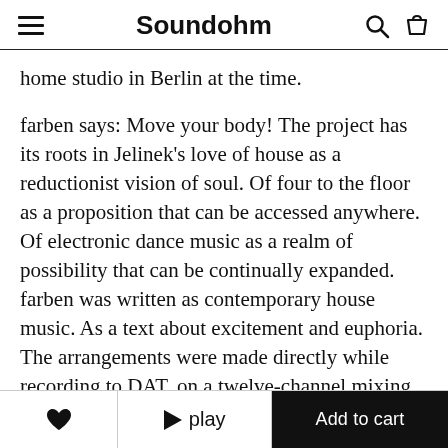Soundohm
home studio in Berlin at the time.
farben says: Move your body! The project has its roots in Jelinek's love of house as a reductionist vision of soul. Of four to the floor as a proposition that can be accessed anywhere. Of electronic dance music as a realm of possibility that can be continually expanded. farben was written as contemporary house music. As a text about excitement and euphoria. The arrangements were made directly while recording to DAT, on a twelve-channel mixing desk. Several track titles suggest a link to live concerts, coupled with the
❤   ▶ play   Add to cart